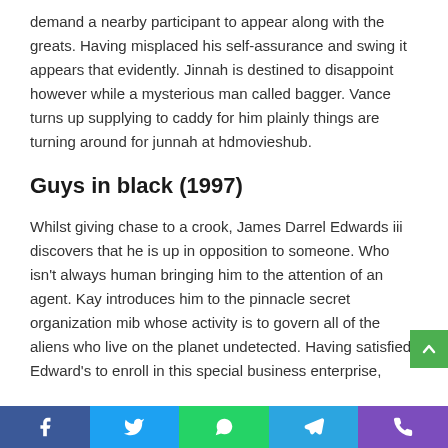demand a nearby participant to appear along with the greats. Having misplaced his self-assurance and swing it appears that evidently. Jinnah is destined to disappoint however while a mysterious man called bagger. Vance turns up supplying to caddy for him plainly things are turning around for junnah at hdmovieshub.
Guys in black (1997)
Whilst giving chase to a crook, James Darrel Edwards iii discovers that he is up in opposition to someone. Who isn't always human bringing him to the attention of an agent. Kay introduces him to the pinnacle secret organization mib whose activity is to govern all of the aliens who live on the planet undetected. Having satisfied Edward's to enroll in this special business enterprise,
Facebook | Twitter | WhatsApp | Telegram | Viber